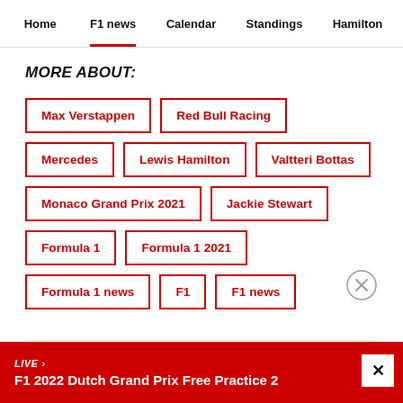Home | F1 news | Calendar | Standings | Hamilton
MORE ABOUT:
Max Verstappen
Red Bull Racing
Mercedes
Lewis Hamilton
Valtteri Bottas
Monaco Grand Prix 2021
Jackie Stewart
Formula 1
Formula 1 2021
Formula 1 news
F1
F1 news
LIVE › F1 2022 Dutch Grand Prix Free Practice 2